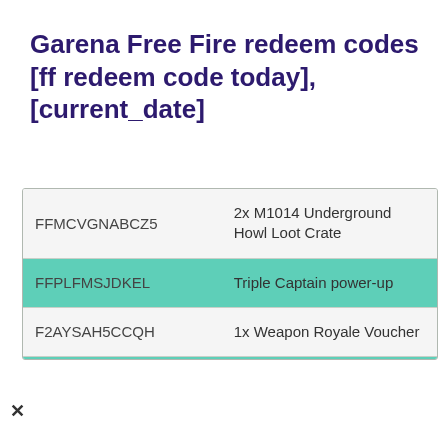Garena Free Fire redeem codes [ff redeem code today], [current_date]
| Code | Reward |
| --- | --- |
| FFMCVGNABCZ5 | 2x M1014 Underground Howl Loot Crate |
| FFPLFMSJDKEL | Triple Captain power-up |
| F2AYSAH5CCQH | 1x Weapon Royale Voucher |
| 5FBKP6U2A6VD | 4x MP40 Crazy Bunny Weapon Loot Crate |